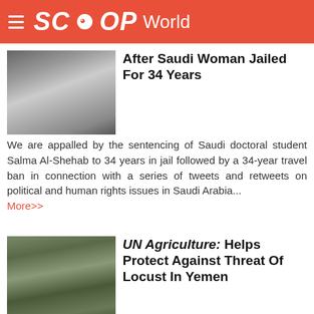SCOOP World
After Saudi Woman Jailed For 34 Years
We are appalled by the sentencing of Saudi doctoral student Salma Al-Shehab to 34 years in jail followed by a 34-year travel ban in connection with a series of tweets and retweets on political and human rights issues in Saudi Arabia... More>>
UN Agriculture: Helps Protect Against Threat Of Locust In Yemen
Following heavy widespread rains in Yemen, the Food and Agriculture Organization (FAO) remains on high alert... More>>